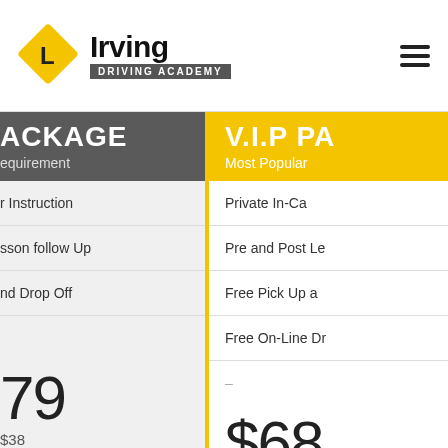[Figure (logo): Irving Driving Academy logo with yellow diamond L-plate and bold text]
ACKAGE
equirement
V.I.P PA
Most Popular
r Instruction
Private In-Ca
sson follow Up
Pre and Post Le
nd Drop Off
Free Pick Up a
Free On-Line Dr
79
$38
$68
e